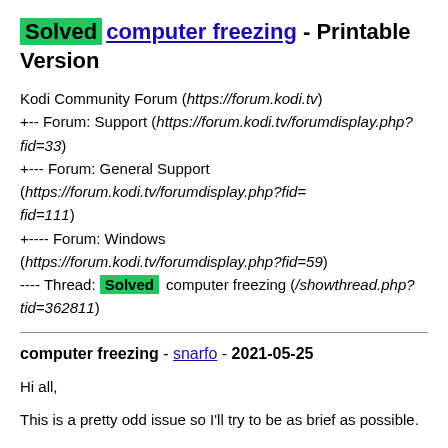Solved computer freezing - Printable Version
Kodi Community Forum (https://forum.kodi.tv)
+-- Forum: Support (https://forum.kodi.tv/forumdisplay.php?fid=33)
+--- Forum: General Support (https://forum.kodi.tv/forumdisplay.php?fid=111)
+---- Forum: Windows (https://forum.kodi.tv/forumdisplay.php?fid=59)
---- Thread: Solved computer freezing (/showthread.php?tid=362811)
computer freezing - snarfo - 2021-05-25
Hi all,

This is a pretty odd issue so I'll try to be as brief as possible.

I upgraded to Kodi 19 without any issues and it's been running fine until last week sometime. Now when I turn my a/v system on Kodi has frozen the entire computer (which is normally rock stable)--- I can't use hotkeys to bring up task manager or anything. I have to force the power off and reboot which is of course not really ideal in the long run on Windows. I use a Harmony Ultimate remote and all it actually does is turn on my Samsung TV, my Sony receiver, and set inputs appropriately for my htpc. It also has my FLIRC in the startup and shutdown sequences, but that's a dummy device so I can send keystrokes easily and the Harmony software won't let you delete core devices. The thing is, the htpc never shuts off or sleeps (it runs 24/7) so there are no commands being sent